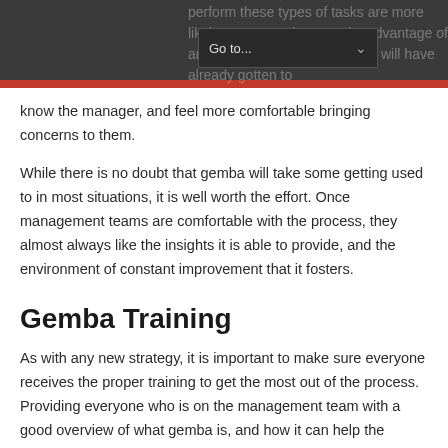perform these types of tasks are more likely to see employees take advantage of an open door policy since they will have already gotten to
know the manager, and feel more comfortable bringing concerns to them.
While there is no doubt that gemba will take some getting used to in most situations, it is well worth the effort. Once management teams are comfortable with the process, they almost always like the insights it is able to provide, and the environment of constant improvement that it fosters.
Gemba Training
As with any new strategy, it is important to make sure everyone receives the proper training to get the most out of the process. Providing everyone who is on the management team with a good overview of what gemba is, and how it can help the organization, is an important first step.